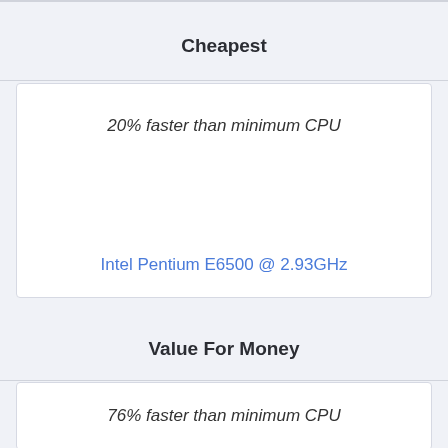Cheapest
20% faster than minimum CPU
Intel Pentium E6500 @ 2.93GHz
Value For Money
76% faster than minimum CPU